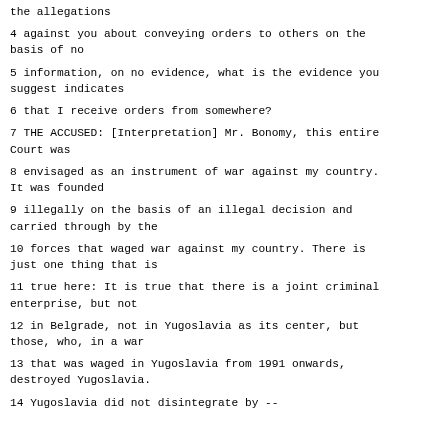the allegations
4 against you about conveying orders to others on the basis of no
5 information, on no evidence, what is the evidence you suggest indicates
6 that I receive orders from somewhere?
7 THE ACCUSED: [Interpretation] Mr. Bonomy, this entire Court was
8 envisaged as an instrument of war against my country. It was founded
9 illegally on the basis of an illegal decision and carried through by the
10 forces that waged war against my country. There is just one thing that is
11 true here: It is true that there is a joint criminal enterprise, but not
12 in Belgrade, not in Yugoslavia as its center, but those, who, in a war
13 that was waged in Yugoslavia from 1991 onwards, destroyed Yugoslavia.
14 Yugoslavia did not disintegrate by --